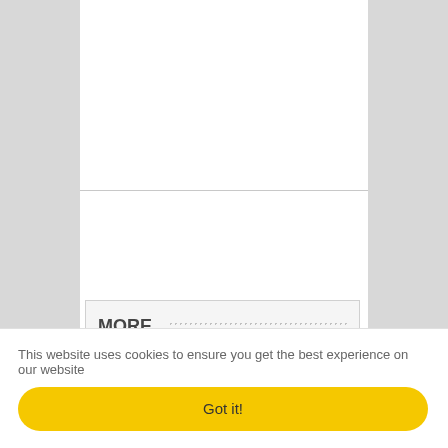[Figure (screenshot): Website screenshot showing a white document area in the center with grey side columns and a horizontal rule dividing the page. A 'MORE' button with a dotted pattern is visible near the bottom of the document area.]
MORE
This website uses cookies to ensure you get the best experience on our website
Got it!